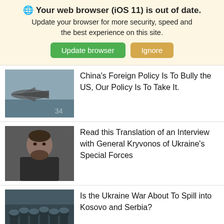🌐 Your web browser (iOS 11) is out of date. Update your browser for more security, speed and the best experience on this site. [Update browser] [Ignore]
China's Foreign Policy Is To Bully the US, Our Policy Is To Take It.
Read this Translation of an Interview with General Kryvonos of Ukraine's Special Forces
Is the Ukraine War About To Spill into Kosovo and Serbia?
[Figure (infographic): Advertisement: Official NFL Gear. Get Your Favorite Team's Gear Here. www.nflshop.com]